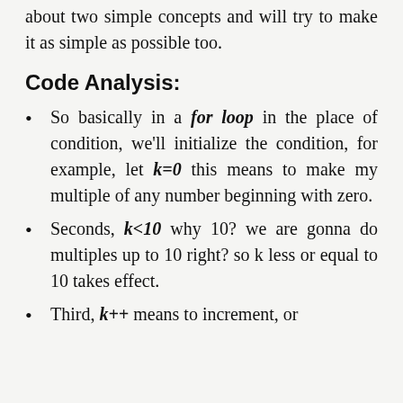about two simple concepts and will try to make it as simple as possible too.
Code Analysis:
So basically in a for loop in the place of condition, we'll initialize the condition, for example, let k=0 this means to make my multiple of any number beginning with zero.
Seconds, k<10 why 10? we are gonna do multiples up to 10 right? so k less or equal to 10 takes effect.
Third, k++ means to increment, or